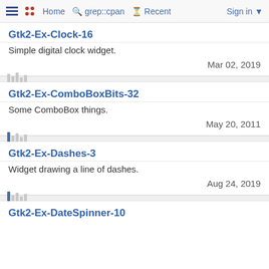≡  •• Home  🔍 grep::cpan  🕐 Recent  Sign in ▾
Gtk2-Ex-Clock-16
Simple digital clock widget.
Mar 02, 2019
Gtk2-Ex-ComboBoxBits-32
Some ComboBox things.
May 20, 2011
Gtk2-Ex-Dashes-3
Widget drawing a line of dashes.
Aug 24, 2019
Gtk2-Ex-DateSpinner-10